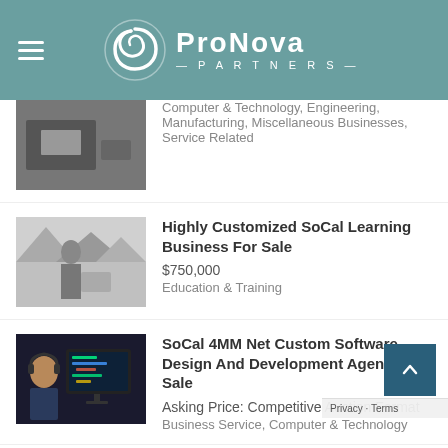ProNova Partners
Computer & Technology, Engineering, Manufacturing, Miscellaneous Businesses, Service Related
Highly Customized SoCal Learning Business For Sale
$750,000
Education & Training
[Figure (photo): Black and white photo of people studying/learning]
SoCal 4MM Net Custom Software Design And Development Agency For Sale
Asking Price: Competitive Auction Format
Business Service, Computer & Technology
[Figure (photo): Person with headphones working at a computer with code on screen]
Contact Us
9465 Garden Grove Blvd Suite 100
Garden Grove, CA 92841
Call us at 833-776-6698